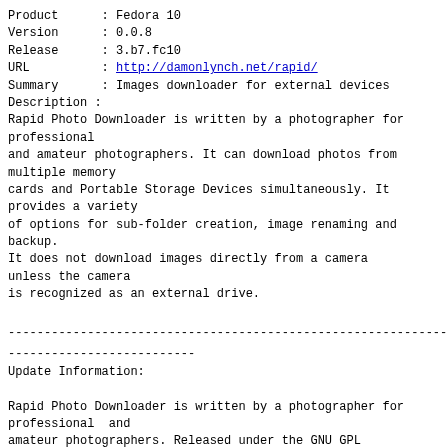Product    : Fedora 10
Version    : 0.0.8
Release    : 3.b7.fc10
URL        : http://damonlynch.net/rapid/
Summary    : Images downloader for external devices
Description :
Rapid Photo Downloader is written by a photographer for professional
and amateur photographers. It can download photos from multiple memory
cards and Portable Storage Devices simultaneously. It provides a variety
of options for sub-folder creation, image renaming and backup.
It does not download images directly from a camera unless the camera
is recognized as an external drive.
------------------------------------------------------------------------
--------------------------
Update Information:

Rapid Photo Downloader is written by a photographer for professional  and
amateur photographers. Released under the GNU GPL license, it is  designed for
use on the GNOME 2 Desktop. It can download photos from multiple memory cards
and Portable Storage Devices simultaneously. It
provides a variety of options